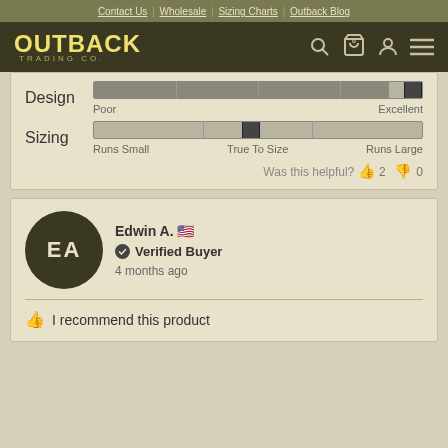Contact Us | Wholesale | Sizing Charts | Outback Blog
[Figure (logo): Outback Trading Co. logo with navigation icons]
[Figure (infographic): Design slider from Poor to Excellent, positioned near Excellent]
[Figure (infographic): Sizing slider from Runs Small to Runs Large, positioned at True To Size]
Was this helpful? 👍 2 👎 0
EA — Edwin A. 🇺🇸 — Verified Buyer — 4 months ago
I recommend this product